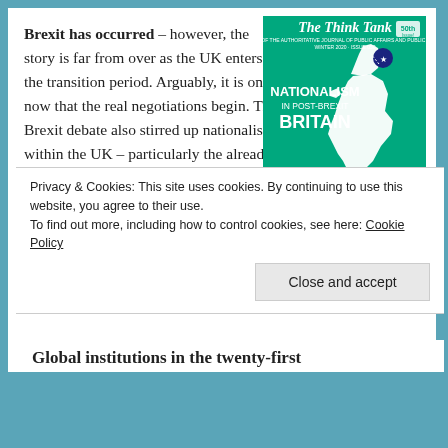Brexit has occurred – however, the story is far from over as the UK enters the transition period. Arguably, it is only now that the real negotiations begin. The Brexit debate also stirred up nationalism within the UK – particularly the already burning issue of Scottish independence.
[Figure (illustration): Magazine cover of 'The Think Tank' issue on 'Nationalism in Post-Brexit Britain' with a green background and white map of the United Kingdom.]
Privacy & Cookies: This site uses cookies. By continuing to use this website, you agree to their use.
To find out more, including how to control cookies, see here: Cookie Policy
Close and accept
Global institutions in the twenty-first